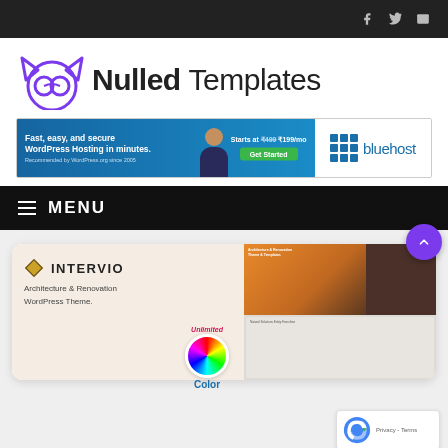Social icons bar (Facebook, Twitter, Email)
[Figure (logo): Nulled Templates logo with cat mascot icon and bold text]
[Figure (infographic): Bluehost hosting advertisement banner: Fast, easy, and secure WordPress Hosting in minutes. Starts at ₹499 ₹199/mo. Get Started. Recommended by WordPress.org since 2005.]
≡ MENU
[Figure (screenshot): INTERVIO Architecture & Renovation WordPress Theme card with preview images showing theme layouts, color picker, and Unlimited Color label]